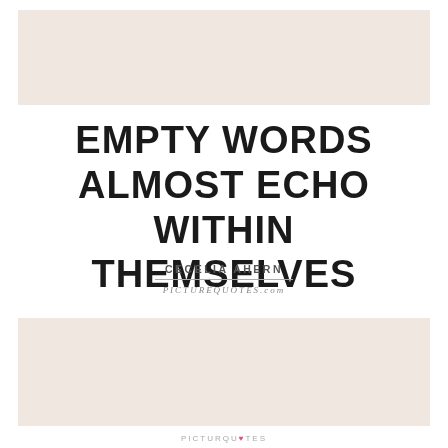[Figure (illustration): Decorative beige/cream banner rectangle at top of page]
EMPTY WORDS ALMOST ECHO WITHIN THEMSELVES
CECELIA AHERN
PICTUREQUOTES.com
[Figure (illustration): Decorative beige/cream banner rectangle at bottom of page]
PICTUREQUOTES